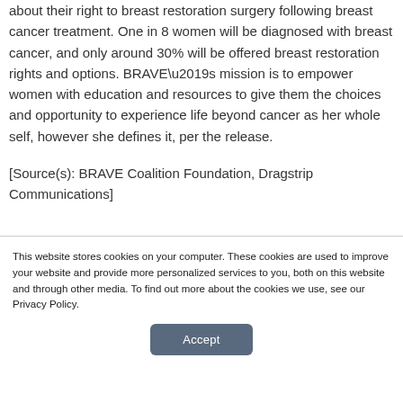BRAVE Coalition is dedicated to educating women about their right to breast restoration surgery following breast cancer treatment. One in 8 women will be diagnosed with breast cancer, and only around 30% will be offered breast restoration rights and options. BRAVE’s mission is to empower women with education and resources to give them the choices and opportunity to experience life beyond cancer as her whole self, however she defines it, per the release.
[Source(s): BRAVE Coalition Foundation, Dragstrip Communications]
This website stores cookies on your computer. These cookies are used to improve your website and provide more personalized services to you, both on this website and through other media. To find out more about the cookies we use, see our Privacy Policy.
Accept